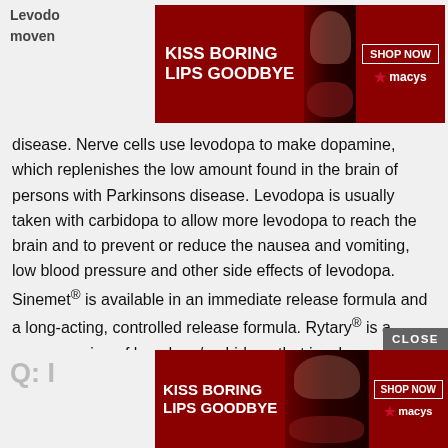Levodopa... ess of movement... ons disease.
[Figure (screenshot): Macy's advertisement banner: KISS BORING LIPS GOODBYE with SHOP NOW button and Macy's star logo, dark red background with model photo]
disease. Nerve cells use levodopa to make dopamine, which replenishes the low amount found in the brain of persons with Parkinsons disease. Levodopa is usually taken with carbidopa to allow more levodopa to reach the brain and to prevent or reduce the nausea and vomiting, low blood pressure and other side effects of levodopa. Sinemet® is available in an immediate release formula and a long-acting, controlled release formula. Rytary® is a newer version of levodopa/carbidopa that is a longer-acting capsule. The newest addition is Inbrija®, which is inhaled levodopa. It is used by people already taking regular carbidopa/levodopa for when they have off episodes .
Q: I
[Figure (screenshot): Macy's advertisement banner (bottom): KISS BORING LIPS GOODBYE with SHOP NOW button and Macy's star logo, dark red background with model photo]